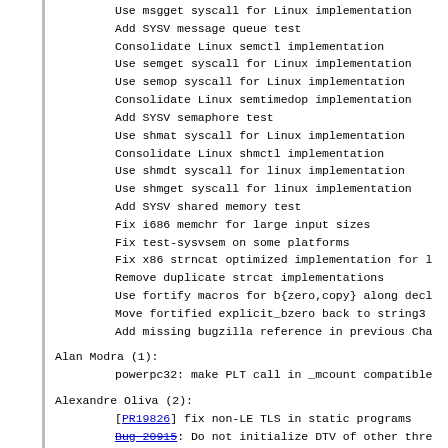Use msgget syscall for Linux implementation
Add SYSV message queue test
Consolidate Linux semctl implementation
Use semget syscall for Linux implementation
Use semop syscall for Linux implementation
Consolidate Linux semtimedop implementation
Add SYSV semaphore test
Use shmat syscall for Linux implementation
Consolidate Linux shmctl implementation
Use shmdt syscall for linux implementation
Use shmget syscall for linux implementation
Add SYSV shared memory test
Fix i686 memchr for large input sizes
Fix test-sysvsem on some platforms
Fix x86 strncat optimized implementation for l
Remove duplicate strcat implementations
Use fortify macros for b{zero,copy} along decl
Move fortified explicit_bzero back to string3
Add missing bugzilla reference in previous Cha
Alan Modra (1):
powerpc32: make PLT call in _mcount compatible
Alexandre Oliva (2):
[PR19826] fix non-LE TLS in static programs
Bug 20915: Do not initialize DTV of other thre
Andreas Schwab (11):
arm: mark __startcontext as .cantunwind (bug 2
Properly initialize glob structure with GLOB_B
Fix multiple definitions of fstatat [...]